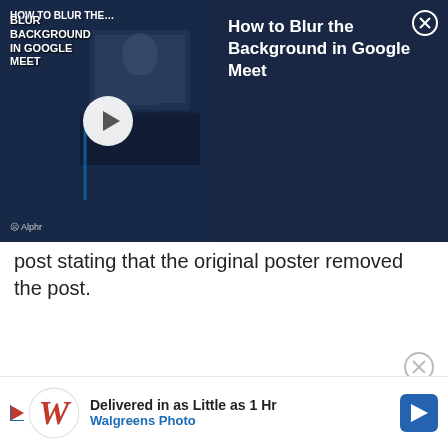[Figure (screenshot): Video thumbnail for 'How to Blur the Background in Google Meet' showing a laptop with a person on screen, with title text overlay and play button, on dark navy background. Alphr logo in bottom left of thumbnail.]
How to Blur the Background in Google Meet
post stating that the original poster removed the post.
FEATURED VIDEOS
[Figure (screenshot): Advertisement for Walgreens Photo: 'Delivered in as Little as 1 Hr' with Walgreens cursive W logo and blue navigation arrow icon.]